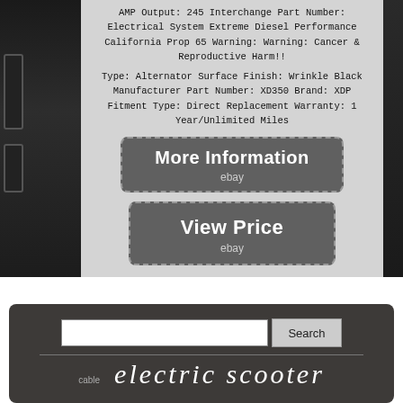AMP Output: 245 Interchange Part Number: Electrical System Extreme Diesel Performance California Prop 65 Warning: Warning: Cancer & Reproductive Harm!!
Type: Alternator Surface Finish: Wrinkle Black Manufacturer Part Number: XD350 Brand: XDP Fitment Type: Direct Replacement Warranty: 1 Year/Unlimited Miles
[Figure (screenshot): Button with dashed border reading 'More Information' with 'ebay' subtitle on dark background]
[Figure (screenshot): Button with dashed border reading 'View Price' with 'ebay' subtitle on dark background]
[Figure (infographic): Social media sharing icons: Facebook (blue), Twitter (blue), Pinterest (red), Email (blue)]
[Figure (screenshot): Search bar with text input and Search button on dark background, with 'electric scooter' text below and 'cable' label]